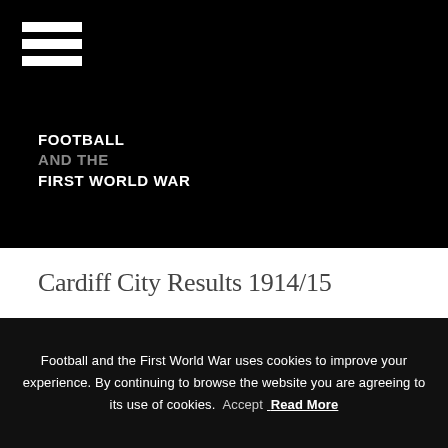[Figure (logo): Hamburger menu icon (three white horizontal bars) on black background]
FOOTBALL AND THE FIRST WORLD WAR
Cardiff City Results 1914/15
Football and the First World War uses cookies to improve your experience. By continuing to browse the website you are agreeing to its use of cookies. Accept Read More